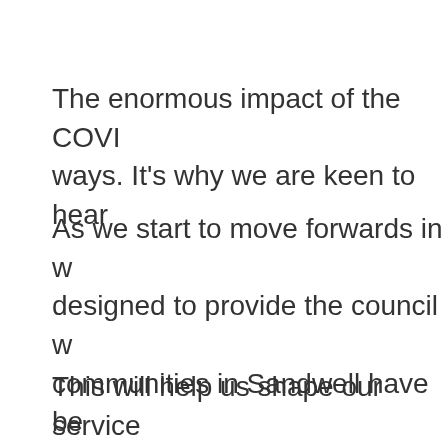The enormous impact of the COVID- ways. It's why we are keen to hear
As we start to move forwards in w designed to provide the council w communities in Sandwell have be
This will help us shape our service borough.